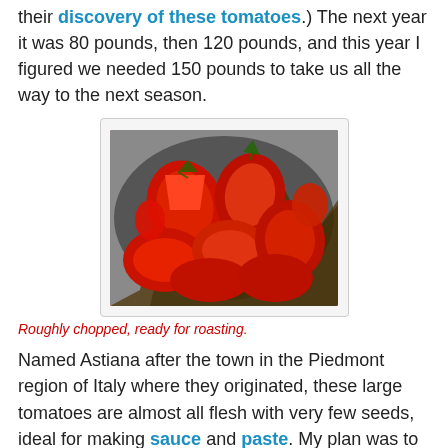their discovery of these tomatoes.) The next year it was 80 pounds, then 120 pounds, and this year I figured we needed 150 pounds to take us all the way to the next season.
[Figure (photo): A photo of roughly chopped red tomatoes in a bowl, ready for roasting.]
Roughly chopped, ready for roasting.
Named Astiana after the town in the Piedmont region of Italy where they originated, these large tomatoes are almost all flesh with very few seeds, ideal for making sauce and paste. My plan was to get a jump start on the processing by bringing home 50 pounds or so, then getting two more batches of 50 pounds each as the season, about a month long, progressed. I say "was" because when we got to the field and started picking, using the four yellow crates that Carol insisted we would need—you can tell I'm trying to